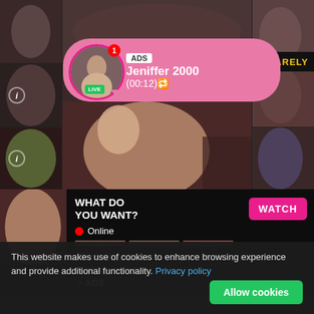[Figure (screenshot): Adult content website screenshot with mosaic background of photos, live ad bubble overlay showing 'Jeniffer 2000' with ADS label and timer (00:12), BARELY logo top right, and 'WHAT DO YOU WANT?' panel with WATCH button, Online indicator, thumbnails, and text 'Cumming, ass fucking, squirt or... ADS']
This website makes use of cookies to enhance browsing experience and provide additional functionality. Privacy policy
Allow cookies